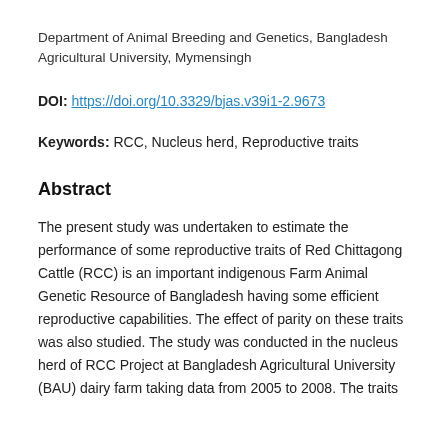Department of Animal Breeding and Genetics, Bangladesh Agricultural University, Mymensingh
DOI: https://doi.org/10.3329/bjas.v39i1-2.9673
Keywords: RCC, Nucleus herd, Reproductive traits
Abstract
The present study was undertaken to estimate the performance of some reproductive traits of Red Chittagong Cattle (RCC) is an important indigenous Farm Animal Genetic Resource of Bangladesh having some efficient reproductive capabilities. The effect of parity on these traits was also studied. The study was conducted in the nucleus herd of RCC Project at Bangladesh Agricultural University (BAU) dairy farm taking data from 2005 to 2008. The traits